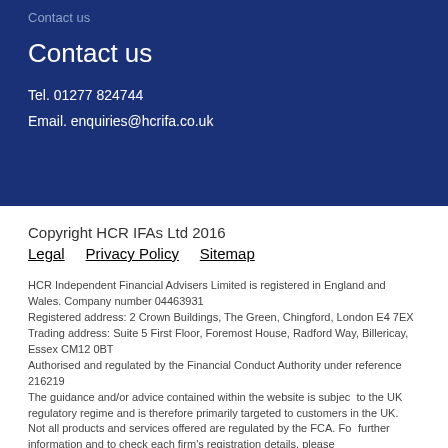Contact us
Contact us
Tel. 01277 824744
Email. enquiries@hcrifa.co.uk
Copyright HCR IFAs Ltd 2016
Legal   Privacy Policy   Sitemap
HCR Independent Financial Advisers Limited is registered in England and Wales. Company number 04463931
Registered address: 2 Crown Buildings, The Green, Chingford, London E4 7EX
Trading address: Suite 5 First Floor, Foremost House, Radford Way, Billericay, Essex CM12 0BT
Authorised and regulated by the Financial Conduct Authority under reference 216219
The guidance and/or advice contained within the website is subject to the UK regulatory regime and is therefore primarily targeted to customers in the UK.
Not all products and services offered are regulated by the FCA. For further information and to check each firm's registration details, please